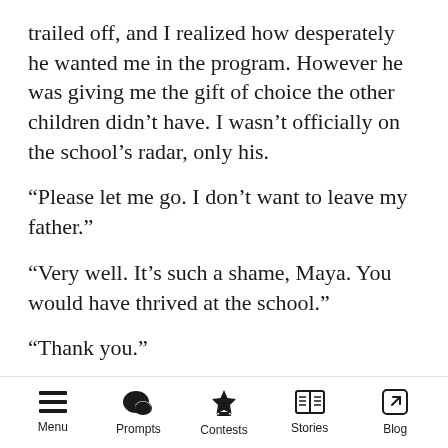trailed off, and I realized how desperately he wanted me in the program. However he was giving me the gift of choice the other children didn’t have. I wasn’t officially on the school’s radar, only his.
“Please let me go. I don’t want to leave my father.”
“Very well. It’s such a shame, Maya. You would have thrived at the school.”
“Thank you.”
I said it sincerely, and he knew it. I respected him, and he in turn respected my wish. I could not have been more grateful.
Menu  Prompts  Contests  Stories  Blog